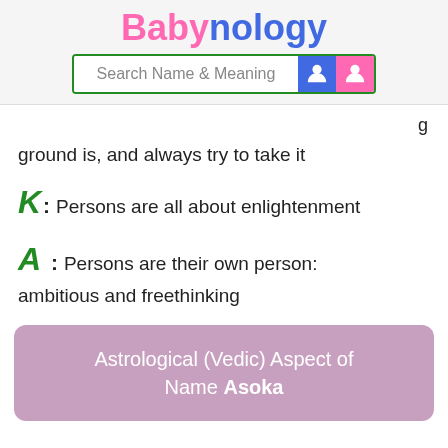Babynology — Search Name & Meaning
ground is, and always try to take it
K : Persons are all about enlightenment
A : Persons are their own person: ambitious and freethinking
Astrological (Vedic) Aspect of Name Asoka